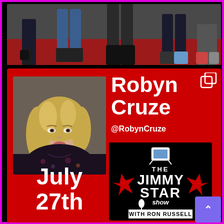[Figure (photo): Top strip photo showing lower bodies/legs of several people standing on a red carpet or floor]
[Figure (photo): Promotional card with red background. Shows a headshot of Robyn Cruze (blonde woman in floral dark top), text 'Robyn Cruze @RobynCruze', date 'July 27th', and The Jimmy Star Show with Ron Russell logo]
Robyn Cruze
@RobynCruze
July 27th
[Figure (logo): The Jimmy Star Show with Ron Russell logo — black background with red stars and retro TV graphic]